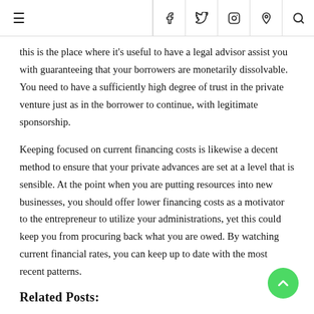≡   f  y  [instagram]  [pinterest]  [search]
this is the place where it's useful to have a legal advisor assist you with guaranteeing that your borrowers are monetarily dissolvable. You need to have a sufficiently high degree of trust in the private venture just as in the borrower to continue, with legitimate sponsorship.
Keeping focused on current financing costs is likewise a decent method to ensure that your private advances are set at a level that is sensible. At the point when you are putting resources into new businesses, you should offer lower financing costs as a motivator to the entrepreneur to utilize your administrations, yet this could keep you from procuring back what you are owed. By watching current financial rates, you can keep up to date with the most recent patterns.
Related Posts: